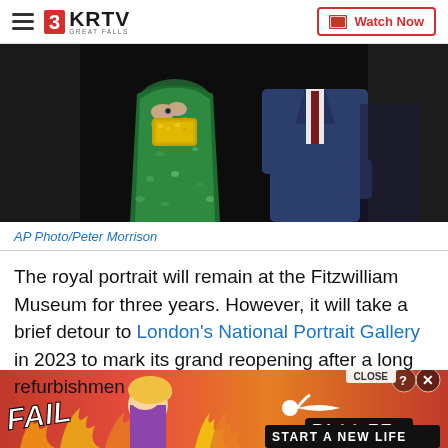3KRTV GREAT FALLS | Watch Now
[Figure (photo): Cropped photo showing a person in a green sparkly/sequined dress holding a gold clutch, next to a person in a navy blue suit. Only torsos and lower bodies visible. Dark background.]
AP Photo/Peter Morrison
The royal portrait will remain at the Fitzwilliam Museum for three years. However, it will take a brief detour to London's National Portrait Gallery in 2023 to mark its grand reopening after a long refurbishment
[Figure (illustration): Advertisement banner for BitLife mobile game with red/orange flame background, 'FAIL' text, cartoon character, fire emoji, sperm emoji, BitLife logo, and 'START A NEW LIFE' text. Close button visible.]